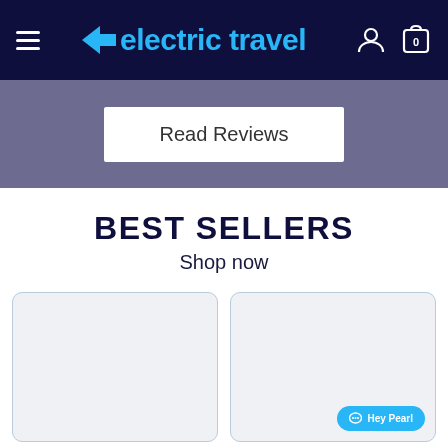electric travel — navigation bar with hamburger menu, logo, user icon, and cart icon (0 items)
Read Reviews
BEST SELLERS
Shop now
[Figure (screenshot): Two product cards side by side with light gray background. Right card has a 'Hey Pearl' chat button at bottom right.]